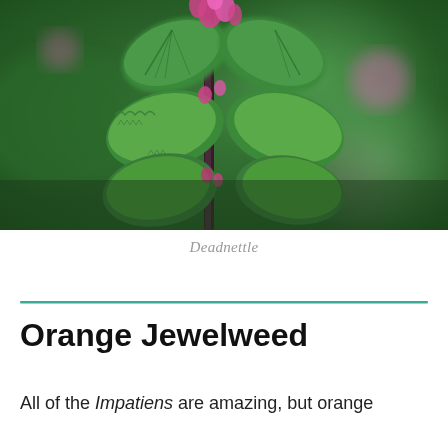[Figure (photo): Close-up photo of a Deadnettle plant with pink/magenta flowers and green serrated leaves on a dark stem, against a blurred green background]
Deadnettle
Orange Jewelweed
All of the Impatiens are amazing, but orange jewelweed is...